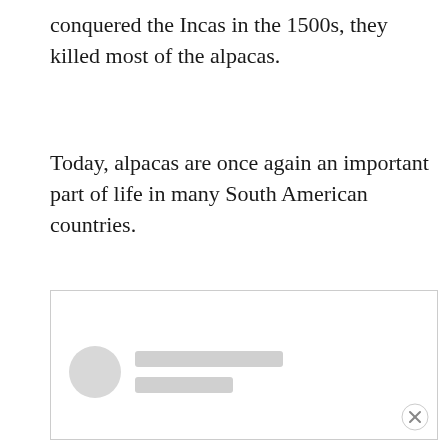conquered the Incas in the 1500s, they killed most of the alpacas.
Today, alpacas are once again an important part of life in many South American countries.
[Figure (screenshot): Embedded content placeholder box with a skeleton loader showing a circular avatar and two horizontal gray placeholder lines, partially cut off on right edge.]